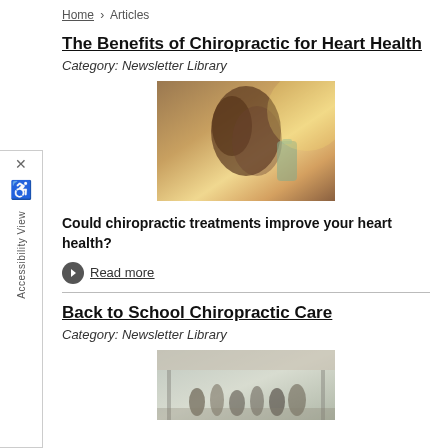Home > Articles
The Benefits of Chiropractic for Heart Health
Category: Newsletter Library
[Figure (photo): Person exercising or stretching with warm backlit lighting, bottle visible in background]
Could chiropractic treatments improve your heart health?
Read more
Back to School Chiropractic Care
Category: Newsletter Library
[Figure (photo): Group of people in a school or gym setting with overhead lighting]